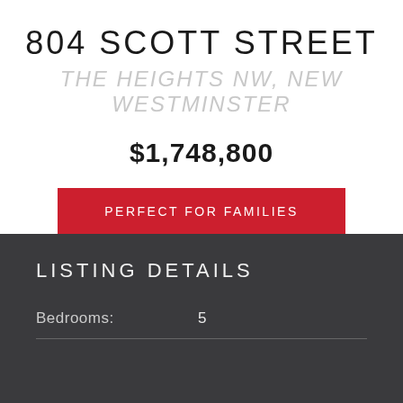804 SCOTT STREET
THE HEIGHTS NW, NEW WESTMINSTER
$1,748,800
PERFECT FOR FAMILIES
LISTING DETAILS
Bedrooms: 5